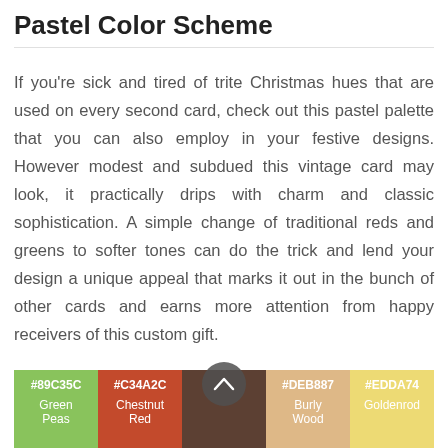Pastel Color Scheme
If you're sick and tired of trite Christmas hues that are used on every second card, check out this pastel palette that you can also employ in your festive designs. However modest and subdued this vintage card may look, it practically drips with charm and classic sophistication. A simple change of traditional reds and greens to softer tones can do the trick and lend your design a unique appeal that marks it out in the bunch of other cards and earns more attention from happy receivers of this custom gift.
[Figure (infographic): Color swatches showing pastel color scheme: #89C35C (Green Peas), #C34A2C (Chestnut Red), #DEB887 (Burly Wood), #EDDA74 (Goldenrod)]